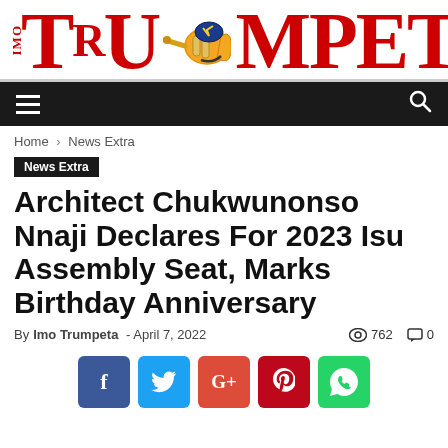[Figure (logo): Imo Trumpeta newspaper logo with red text and trumpet icon]
Navigation bar with hamburger menu and search icon
Home › News Extra
News Extra
Architect Chukwunonso Nnaji Declares For 2023 Isu Assembly Seat, Marks Birthday Anniversary
By Imo Trumpeta - April 7, 2022  762  0
[Figure (infographic): Social share buttons: Facebook, Twitter, Google+, Pinterest, WhatsApp]